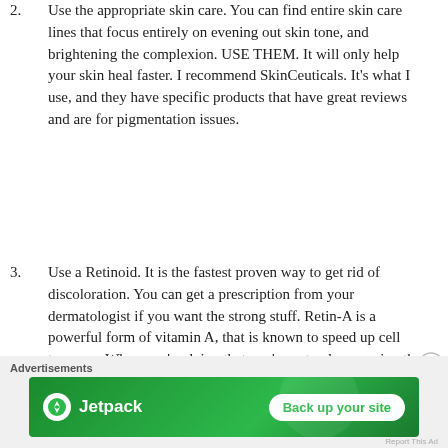2. Use the appropriate skin care. You can find entire skin care lines that focus entirely on evening out skin tone, and brightening the complexion. USE THEM. It will only help your skin heal faster. I recommend SkinCeuticals. It's what I use, and they have specific products that have great reviews and are for pigmentation issues.
3. Use a Retinoid. It is the fastest proven way to get rid of discoloration. You can get a prescription from your dermatologist if you want the strong stuff. Retin-A is a powerful form of vitamin A, that is known to speed up cell turnover. When you're doing that you're not only renewing the top layer of skin to remove dark spots, but you're boosting collagen production as well! You can use it on your fine lines and wrinkles, too! Bonus!
[Figure (infographic): Jetpack advertisement banner with green background, Jetpack logo and icon on left, 'Back up your site' button on right]